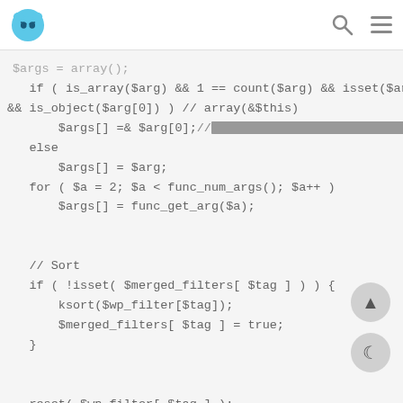WPBeginner logo, search icon, menu icon
$args = array();
    if ( is_array($arg) && 1 == count($arg) && isset($arg[0])
 && is_object($arg[0]) ) // array(&$this)
        $args[] =& $arg[0];//■■■■■■■■■■■■■■■■■■■■■■■■■■■■■■■■■■■
    else
        $args[] = $arg;
    for ( $a = 2; $a < func_num_args(); $a++ )
        $args[] = func_get_arg($a);


    // Sort
    if ( !isset( $merged_filters[ $tag ] ) ) {
        ksort($wp_filter[$tag]);
        $merged_filters[ $tag ] = true;
    }


    reset( $wp_filter[ $tag ] );


    do {
        foreach ( (array) current($wp_filter[$tag]) as $the_ )